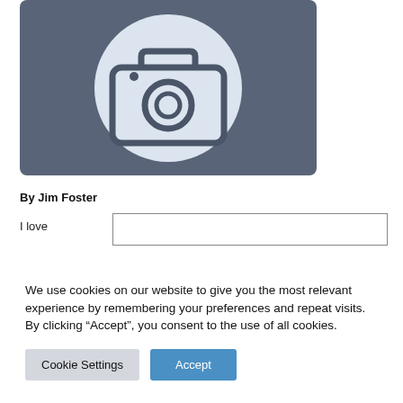[Figure (illustration): Camera placeholder icon: a dark blue-gray rounded rectangle background with a large light-colored circle containing a camera icon outline in dark color.]
By Jim Foster
I love
We use cookies on our website to give you the most relevant experience by remembering your preferences and repeat visits. By clicking “Accept”, you consent to the use of all cookies.